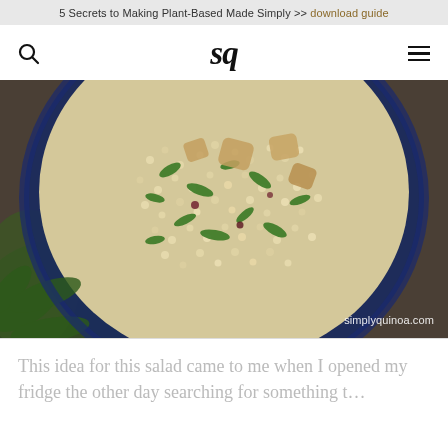5 Secrets to Making Plant-Based Made Simply >> download guide
[Figure (logo): Simply Quinoa logo — stylized 'sq' in serif italic font, with search icon on left and hamburger menu on right]
[Figure (photo): Close-up overhead photo of a blue ceramic bowl filled with quinoa salad mixed with fresh herbs (parsley), apple or cauliflower chunks, and other vegetables. Watermark reads simplyquinoa.com]
This idea for this salad came to me when I opened my fridge the other day searching for something t…